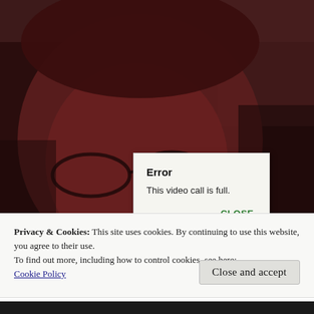[Figure (photo): Dark, dimly lit photo of a person with glasses and reddish hair looking at a screen or camera. A mouse cursor is visible. An error dialog overlaid on the image reads 'Error / This video call is full. / CLOSE'.]
Privacy & Cookies: This site uses cookies. By continuing to use this website, you agree to their use.
To find out more, including how to control cookies, see here:
Cookie Policy
Close and accept